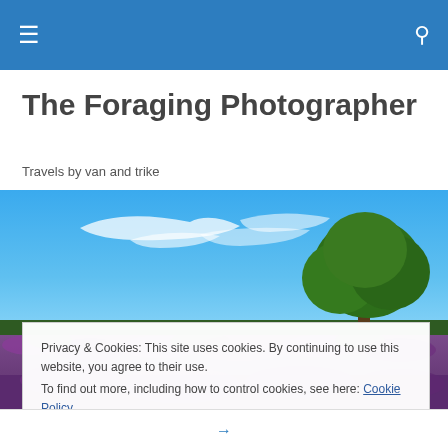≡  🔍
The Foraging Photographer
Travels by van and trike
[Figure (photo): Landscape photograph showing purple heather fields in the foreground with a large tree on the right and a bright blue sky with wispy white clouds above.]
Privacy & Cookies: This site uses cookies. By continuing to use this website, you agree to their use.
To find out more, including how to control cookies, see here: Cookie Policy
Close and accept